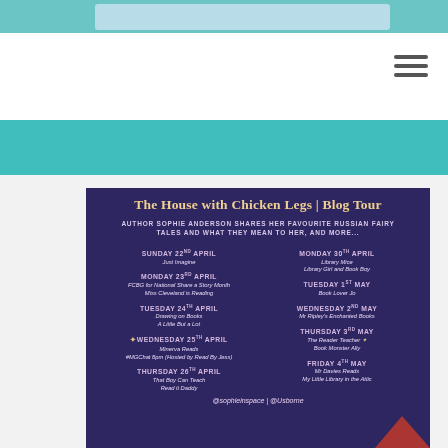Navigation header with hamburger menu
[Figure (infographic): Blog tour schedule poster for 'The House with Chicken Legs' on a dark purple background with stars. Title reads 'The House with Chicken Legs | Blog Tour'. Subtitle: 'AUTHOR SOPHIE ANDERSON SHARES HER FAVOURITE RUSSIAN FAIRY TALES AND WHAT THEY MEAN TO HER, AND MORE...' Schedule lists: Sunday 22nd April - Just Imagine; Monday 23rd April - FCBG for National Share a Story Month, Miss Cleveland is Reading; Tuesday 24th April - Drawing on Books, A Little But a Lot; Wednesday 25th April - Minerva Reads, #MGChat 8pm (Hosted by Read By Jess); Thursday 26th April - That Boy Can Teach, Read it Daddy; Monday 30th April - Library Mice, Library Girl and Book Boy; Tuesday 1st May - Book Lover Jo; Wednesday 2nd May - Mr Ripley's Enchanted Books; Thursday 3rd May - The Reader Teacher, Book Monster Ally; Friday 4th May - Mr Davies Reads, My Little Library in the Attic. Footer: @sophieinspace | @Usborne]